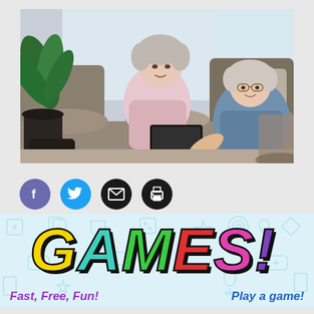[Figure (photo): Two elderly women sitting on a couch looking at a book/magazine together in a living room with a plant and sofa in the background]
[Figure (infographic): Row of four social media/action icons: Facebook (purple circle with f), Twitter (blue circle with bird), Email (black circle with envelope), Print (black circle with printer)]
[Figure (infographic): GAMES! banner in large colorful italic letters on a light blue patterned background with game-themed icons. G is yellow, A is teal, M is green, E is red, S is pink, ! is purple. Below: 'Fast, Free, Fun!' on left in purple italic and 'Play a game!' on right in blue italic.]